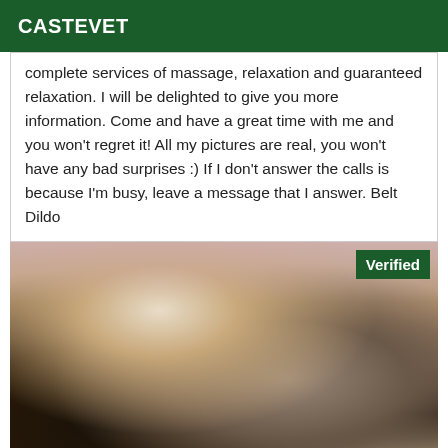CASTEVET
complete services of massage, relaxation and guaranteed relaxation. I will be delighted to give you more information. Come and have a great time with me and you won't regret it! All my pictures are real, you won't have any bad surprises :) If I don't answer the calls is because I'm busy, leave a message that I answer. Belt Dildo
[Figure (photo): A photo of a person wearing lingerie with a 'Verified' badge in the top right corner]